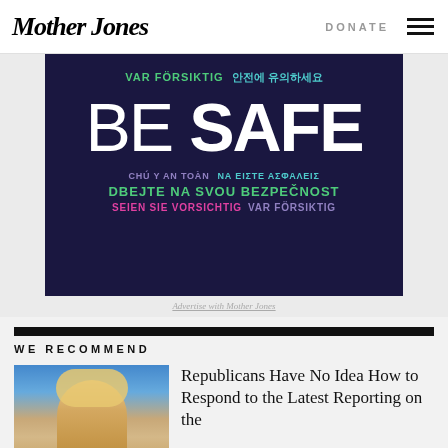Mother Jones | DONATE
[Figure (illustration): Dark navy blue advertisement banner with multilingual 'BE SAFE' text in various colors including green, teal, purple, and white. Languages include Swedish (VAR FÖRSIKTIG), Korean (안전에 유의하세요), Irish (CHÚ Y AN TOÀN), Greek (NA ΕΙΣΤΕ ΑΣΦΑΛΕΙΣ), Czech (DBEJTE NA SVOU BEZPEČNOST), German (SEIEN SIE VORSICHTIG), Swedish again (VAR FÖRSIKTIG).]
Advertise with Mother Jones
WE RECOMMEND
[Figure (photo): Photo of a person with blond hair, appears to be Donald Trump, against a blue background.]
Republicans Have No Idea How to Respond to the Latest Reporting on the